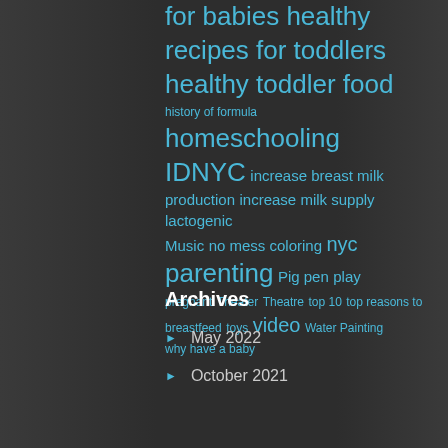for babies healthy recipes for toddlers healthy toddler food history of formula homeschooling IDNYC increase breast milk production increase milk supply lactogenic Music no mess coloring nyc parenting Pig pen play pregnant Theater Theatre top 10 top reasons to breastfeed toys video Water Painting why have a baby
Archives
May 2022
October 2021